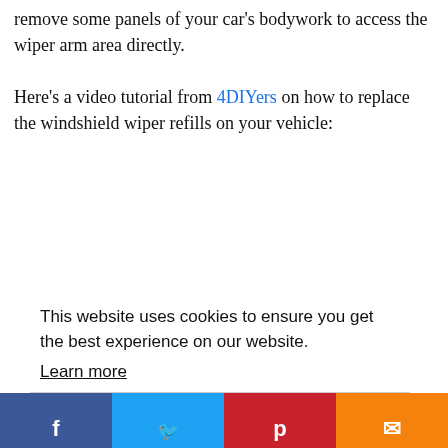remove some panels of your car's bodywork to access the wiper arm area directly.
Here's a video tutorial from 4DIYers on how to replace the windshield wiper refills on your vehicle:
This website uses cookies to ensure you get the best experience on our website.
Learn more
Got it